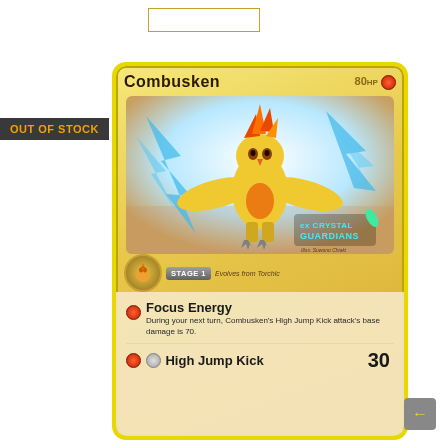[Figure (photo): Pokemon Trading Card: Combusken from EX Crystal Guardians set. Stage 1 card, 80 HP, Fighting type. Shows Combusken artwork with blue lightning bolt background. Attacks: Focus Energy and High Jump Kick (30 damage).]
OUT OF STOCK
Combusken
80 HP
STAGE 1 Evolves from Torchic
EX CRYSTAL GUARDIANS
Illus. Suwono Chiaki
Focus Energy
During your next turn, Combusken's High Jump Kick attack's base damage is 70.
High Jump Kick 30